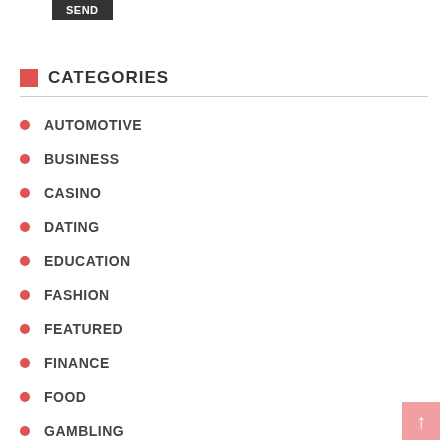[Figure (other): Send button — dark grey background with white uppercase text 'Send']
CATEGORIES
AUTOMOTIVE
BUSINESS
CASINO
DATING
EDUCATION
FASHION
FEATURED
FINANCE
FOOD
GAMBLING
GAMING